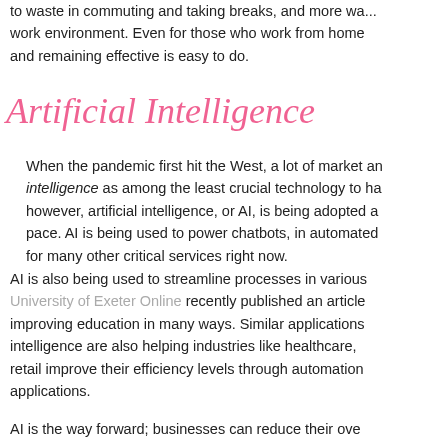to waste in commuting and taking breaks, and more wa... work environment. Even for those who work from home... and remaining effective is easy to do.
Artificial Intelligence
When the pandemic first hit the West, a lot of market an... intelligence as among the least crucial technology to ha... however, artificial intelligence, or AI, is being adopted a... pace. AI is being used to power chatbots, in automated... for many other critical services right now.
AI is also being used to streamline processes in various... University of Exeter Online recently published an article... improving education in many ways. Similar applications... intelligence are also helping industries like healthcare,... retail improve their efficiency levels through automation... applications.
AI is the way forward; businesses can reduce their ove...